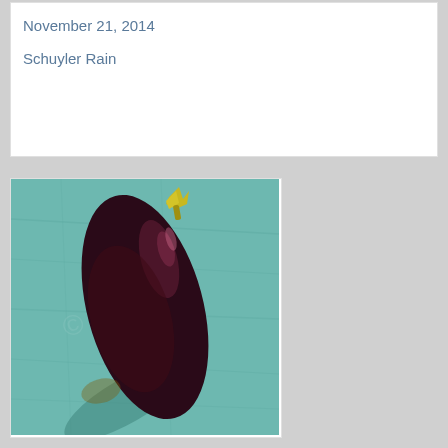November 21, 2014
Schuyler Rain
[Figure (photo): A deep dark purple eggplant (aubergine) with a yellow-green stem cap, photographed lying diagonally on a light teal/turquoise fabric background. The eggplant casts a shadow on the fabric.]